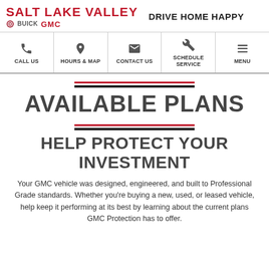SALT LAKE VALLEY Buick GMC — DRIVE HOME HAPPY
[Figure (infographic): Navigation bar with icons: CALL US, HOURS & MAP, CONTACT US, SCHEDULE SERVICE, MENU]
AVAILABLE PLANS
HELP PROTECT YOUR INVESTMENT
Your GMC vehicle was designed, engineered, and built to Professional Grade standards. Whether you're buying a new, used, or leased vehicle, help keep it performing at its best by learning about the current plans GMC Protection has to offer.